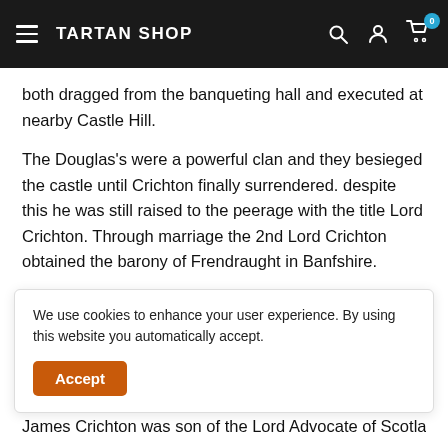TARTAN SHOP
both dragged from the banqueting hall and executed at nearby Castle Hill.
The Douglas's were a powerful clan and they besieged the castle until Crichton finally surrendered. despite this he was still raised to the peerage with the title Lord Crichton. Through marriage the 2nd Lord Crichton obtained the barony of Frendraught in Banfshire.
The third Lord united with the Duke of Albany, brother to
We use cookies to enhance your user experience. By using this website you automatically accept.
James Crichton was son of the Lord Advocate of Scotland